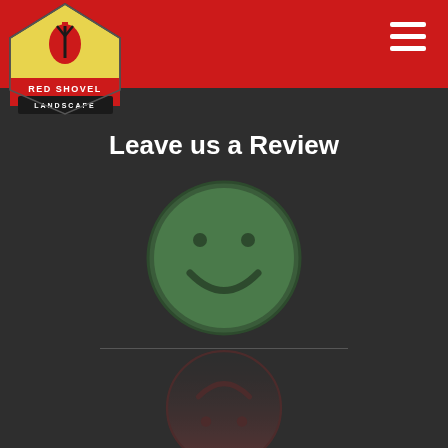[Figure (logo): Red Shovel Landscape logo - pentagon shape with yellow background, red shovel icon, text RED SHOVEL in white on red banner, LANDSCAPE text below]
[Figure (illustration): Hamburger menu icon (three white horizontal lines) on red header background]
Leave us a Review
[Figure (illustration): Green smiley face circle icon (happy face) with reflection showing upside-down reddish sad face below a horizontal divider line]